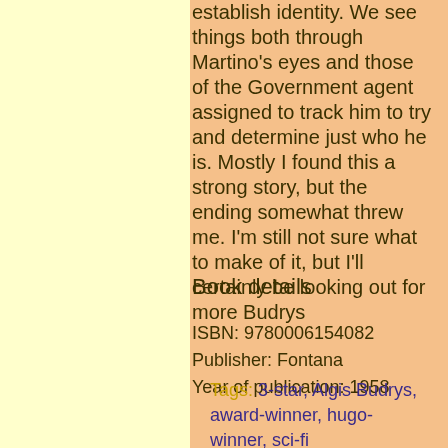establish identity. We see things both through Martino's eyes and those of the Government agent assigned to track him to try and determine just who he is. Mostly I found this a strong story, but the ending somewhat threw me. I'm still not sure what to make of it, but I'll certainly be looking out for more Budrys
Book details
ISBN: 9780006154082
Publisher: Fontana
Year of publication: 1958
Tags: 3-star, Algis Budrys, award-winner, hugo-winner, sci-fi